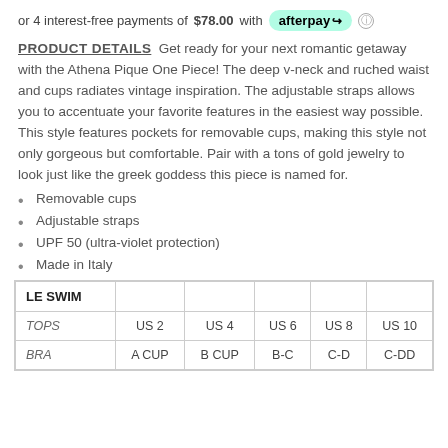or 4 interest-free payments of $78.00 with afterpay
PRODUCT DETAILS Get ready for your next romantic getaway with the Athena Pique One Piece! The deep v-neck and ruched waist and cups radiates vintage inspiration. The adjustable straps allows you to accentuate your favorite features in the easiest way possible. This style features pockets for removable cups, making this style not only gorgeous but comfortable. Pair with a tons of gold jewelry to look just like the greek goddess this piece is named for.
Removable cups
Adjustable straps
UPF 50 (ultra-violet protection)
Made in Italy
| LE SWIM |  |  |  |  |  |
| --- | --- | --- | --- | --- | --- |
| TOPS | US 2 | US 4 | US 6 | US 8 | US 10 |
| BRA | A CUP | B CUP | B-C | C-D | C-DD |